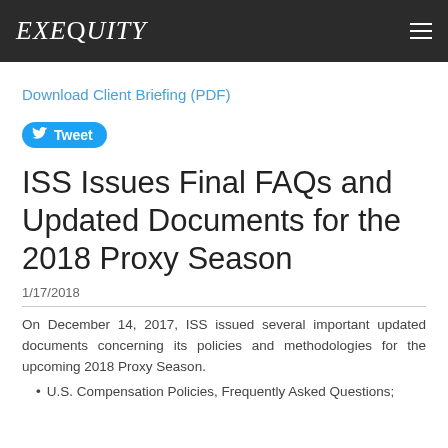EXEQUITY
Download Client Briefing (PDF)
Tweet
ISS Issues Final FAQs and Updated Documents for the 2018 Proxy Season
1/17/2018
On December 14, 2017, ISS issued several important updated documents concerning its policies and methodologies for the upcoming 2018 Proxy Season.
U.S. Compensation Policies, Frequently Asked Questions;